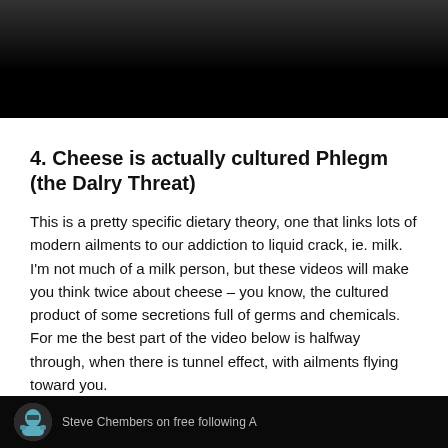[Figure (photo): Dark photograph at the top of the page, showing a dimly lit scene with a dark background fading to black at the bottom.]
4. Cheese is actually cultured Phlegm  (the Dalry Threat)
This is a pretty specific dietary theory, one that links lots of modern ailments to our addiction to liquid crack, ie. milk.  I’m not much of a milk person, but these videos will make you think twice about cheese – you know, the cultured product of some secretions full of germs and chemicals.  For me the best part of the video below is halfway through, when there is tunnel effect, with ailments flying toward you.
[Figure (screenshot): Partial screenshot at the bottom of the page showing a dark background with a circular avatar/profile image on the left, partially cut off.]